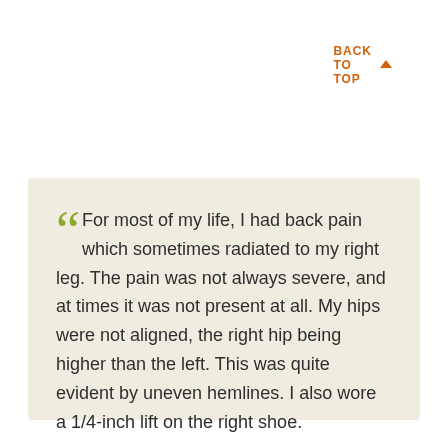BACK TO TOP ▲
For most of my life, I had back pain which sometimes radiated to my right leg. The pain was not always severe, and at times it was not present at all. My hips were not aligned, the right hip being higher than the left. This was quite evident by uneven hemlines. I also wore a 1/4-inch lift on the right shoe.